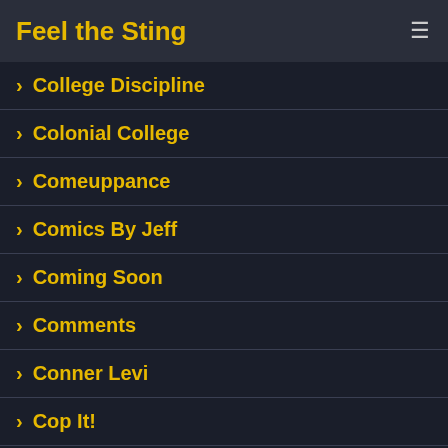Feel the Sting
College Discipline
Colonial College
Comeuppance
Comics By Jeff
Coming Soon
Comments
Conner Levi
Cop It!
Corey Law
Corin Fischer
Coyote